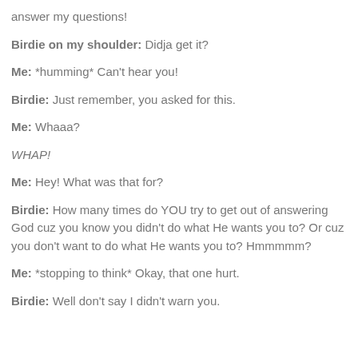answer my questions!
Birdie on my shoulder: Didja get it?
Me: *humming* Can't hear you!
Birdie: Just remember, you asked for this.
Me: Whaaa?
WHAP!
Me: Hey! What was that for?
Birdie: How many times do YOU try to get out of answering God cuz you know you didn't do what He wants you to? Or cuz you don't want to do what He wants you to? Hmmmmm?
Me: *stopping to think* Okay, that one hurt.
Birdie: Well don't say I didn't warn you.